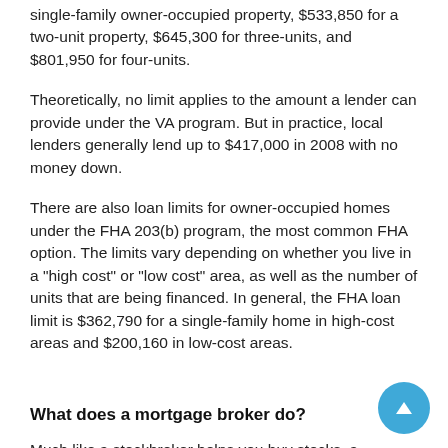single-family owner-occupied property, $533,850 for a two-unit property, $645,300 for three-units, and $801,950 for four-units.
Theoretically, no limit applies to the amount a lender can provide under the VA program. But in practice, local lenders generally lend up to $417,000 in 2008 with no money down.
There are also loan limits for owner-occupied homes under the FHA 203(b) program, the most common FHA option. The limits vary depending on whether you live in a "high cost" or "low cost" area, as well as the number of units that are being financed. In general, the FHA loan limit is $362,790 for a single-family home in high-cost areas and $200,160 in low-cost areas.
What does a mortgage broker do?
Much like a stockbroker helps you buy stocks, a